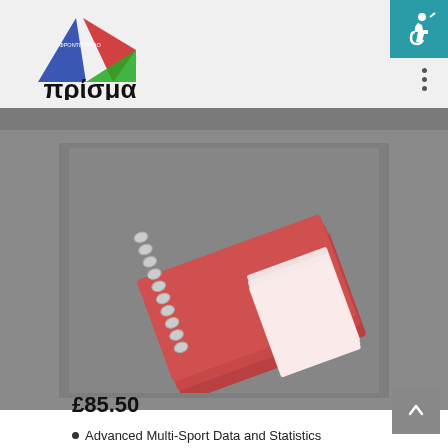[Figure (logo): Prisma Frontistirio logo with triangle shape in blue, red and green colors, and Greek text 'πρίσμα']
[Figure (photo): Stack of red spiral-bound notebooks with metal wire binding, photographed at an angle on a gray background]
£85.50
Advanced Multi-Sport Data and Statistics